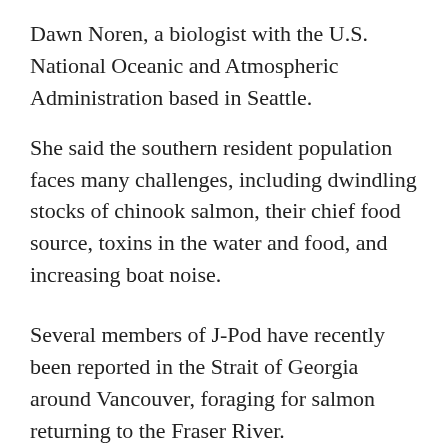Dawn Noren, a biologist with the U.S. National Oceanic and Atmospheric Administration based in Seattle.
She said the southern resident population faces many challenges, including dwindling stocks of chinook salmon, their chief food source, toxins in the water and food, and increasing boat noise.
Several members of J-Pod have recently been reported in the Strait of Georgia around Vancouver, foraging for salmon returning to the Fraser River.
Orca mothers increase their food consumption by 25 per cent during pregnancy and then double it after giving birth to produce milk for their calves, Noren said. With salmon in increasingly short supply, she said, mothers have to work extra hard to forage for food, often amid boat noise that affects their echolocation,